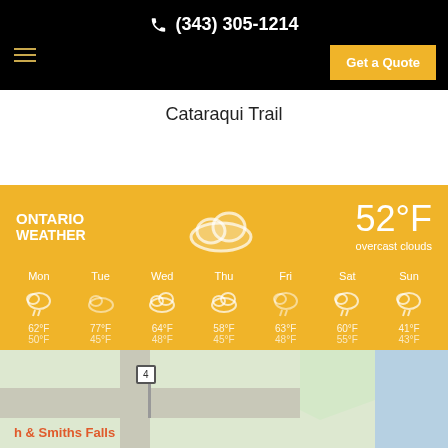(343) 305-1214
Get a Quote
Cataraqui Trail
[Figure (infographic): Ontario weather widget showing overcast clouds, 52°F, with 7-day forecast for Mon through Sun with cloud/rain icons and high/low temperatures]
[Figure (map): Partial map showing road near Smiths Falls area with route 4 sign]